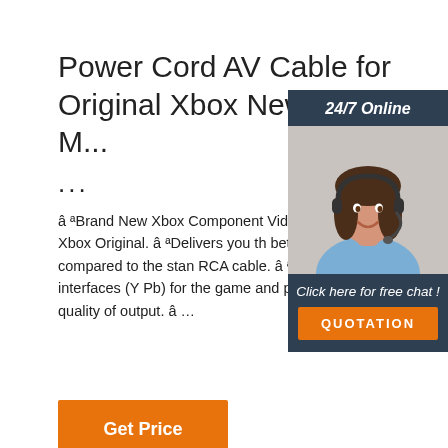Power Cord AV Cable for Original Xbox New York M...
...
â ªBrand New Xbox Component Video Auo Cable for Xbox Original. â ªDelivers you th better picture quality compared to the stan RCA cable. â ªDifferent color interfaces (Y Pb) for the game and provide high-definitio quality of output. â ...
[Figure (photo): Customer support representative woman wearing headset, used in a 24/7 Online chat widget sidebar with dark blue background, orange QUOTATION button]
Get Price